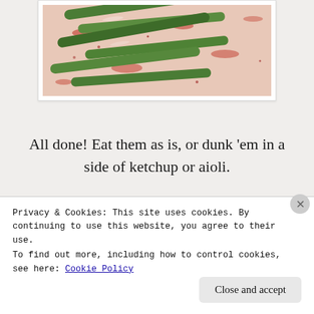[Figure (photo): Green beans/string beans laid out on a surface sprinkled with red paprika/spice, shown in a white card frame]
All done! Eat them as is, or dunk 'em in a side of ketchup or aioli.
[Figure (other): Advertisement banner with colorful segments]
REPORT THIS AD
Privacy & Cookies: This site uses cookies. By continuing to use this website, you agree to their use.
To find out more, including how to control cookies, see here: Cookie Policy
Close and accept